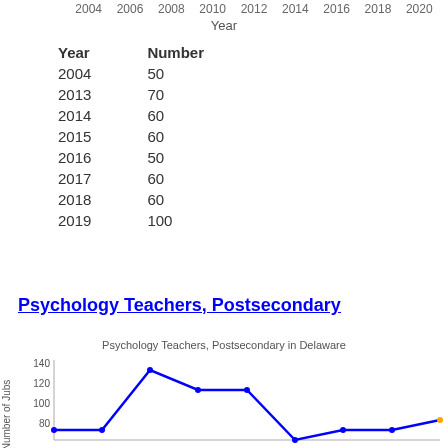[Figure (line-chart): Psychology Teachers, Postsecondary in Delaware]
| Year | Number |
| --- | --- |
| 2004 | 50 |
| 2013 | 70 |
| 2014 | 60 |
| 2015 | 60 |
| 2016 | 50 |
| 2017 | 60 |
| 2018 | 60 |
| 2019 | 100 |
Psychology Teachers, Postsecondary
[Figure (line-chart): Psychology Teachers, Postsecondary in Delaware]